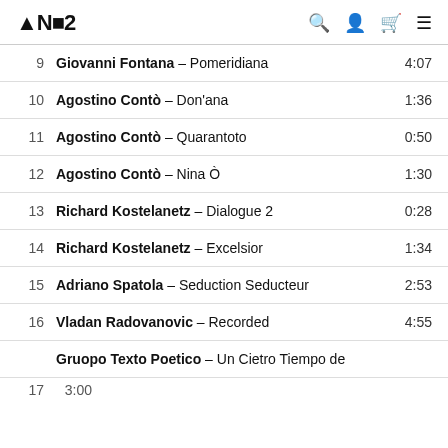NOST
9  Giovanni Fontana – Pomeridiana  4:07
10  Agostino Contò – Don'ana  1:36
11  Agostino Contò – Quarantoto  0:50
12  Agostino Contò – Nina Ò  1:30
13  Richard Kostelanetz – Dialogue 2  0:28
14  Richard Kostelanetz – Excelsior  1:34
15  Adriano Spatola – Seduction Seducteur  2:53
16  Vladan Radovanovic – Recorded  4:55
17  Gruopo Texto Poetico – Un Cietro Tiempo de  3:00